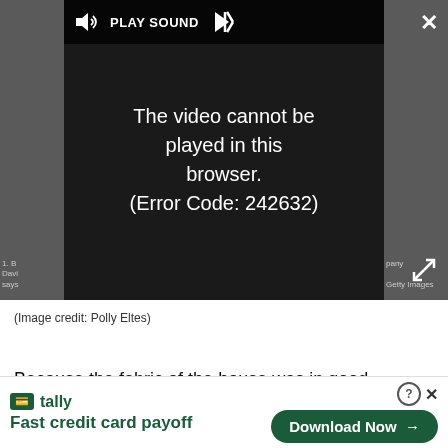[Figure (screenshot): Video player showing error message 'The video cannot be played in this browser. (Error Code: 242632)' with a PLAY SOUND bar at top, close and expand buttons, and dark background.]
(Image credit: Polly Eltes)
Because the fabric of the house was in good condition the main task for Joanna was its interior design. As a former manager of boutiques in Bristol and Bath, before spending seven years in management with Harrods' fashion floors, she approaches interior design and decorating with considerable
[Figure (infographic): Tally app advertisement: 'Fast credit card payoff' with a 'Download Now' button.]